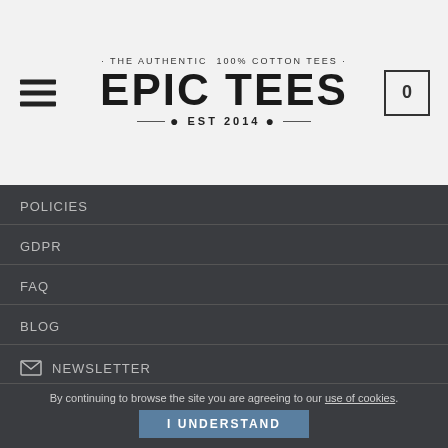[Figure (logo): Epic Tees logo with tagline 'The Authentic 100% Cotton Tees' and 'EST 2014']
POLICIES
GDPR
FAQ
BLOG
NEWSLETTER
Facebook icon
Instagram icon
Twitter icon
By continuing to browse the site you are agreeing to our use of cookies.
I UNDERSTAND